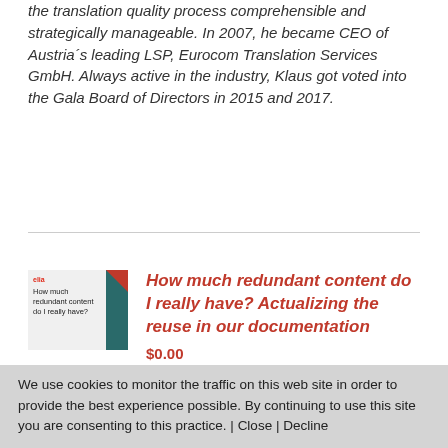the translation quality process comprehensible and strategically manageable. In 2007, he became CEO of Austria´s leading LSP, Eurocom Translation Services GmbH. Always active in the industry, Klaus got voted into the Gala Board of Directors in 2015 and 2017.
[Figure (illustration): Book cover thumbnail for 'How much redundant content do I really have?' with teal/dark green spine and red logo]
How much redundant content do I really have? Actualizing the reuse in our documentation
$0.00
We use cookies to monitor the traffic on this web site in order to provide the best experience possible. By continuing to use this site you are consenting to this practice. | Close | Decline